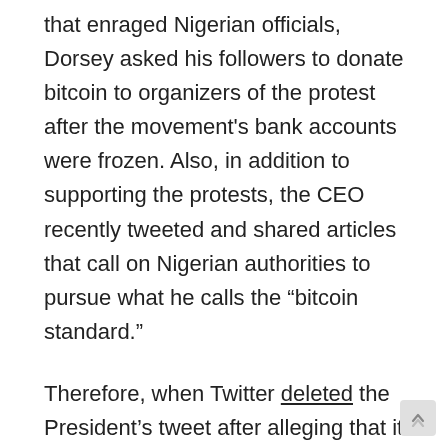that enraged Nigerian officials, Dorsey asked his followers to donate bitcoin to organizers of the protest after the movement's bank accounts were frozen. Also, in addition to supporting the protests, the CEO recently tweeted and shared articles that call on Nigerian authorities to pursue what he calls the “bitcoin standard.”
Therefore, when Twitter deleted the President’s tweet after alleging that it had violated its policies, this proved to be the final straw. The Nigerian government responded to the tweet’s removal by suspending the company’s operations and by threatening to arrest Twitter users that defied an order to stop using the platform. While this decision has been condemned by many including the U.S. government, President Buhari’s administration